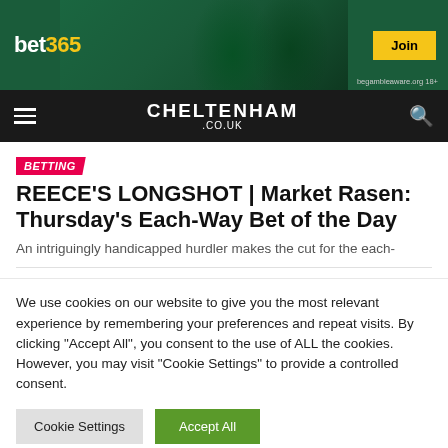[Figure (screenshot): bet365 banner advertisement with green background showing sports players, bet365 logo on left, Join button on right, begambleaware.org 18+ text]
CHELTENHAM .CO.UK
BETTING
REECE'S LONGSHOT | Market Rasen: Thursday's Each-Way Bet of the Day
An intriguingly handicapped hurdler makes the cut for the each-
We use cookies on our website to give you the most relevant experience by remembering your preferences and repeat visits. By clicking "Accept All", you consent to the use of ALL the cookies. However, you may visit "Cookie Settings" to provide a controlled consent.
Cookie Settings  Accept All